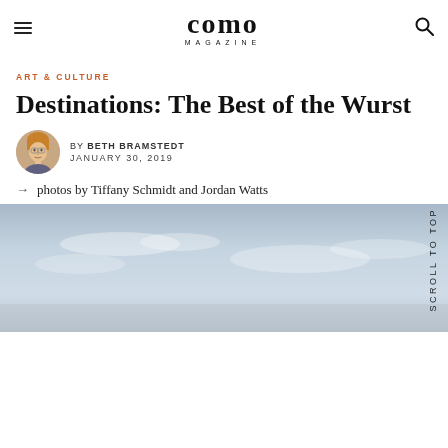como MAGAZINE
ART & CULTURE
Destinations: The Best of the Wurst
BY BETH BRAMSTEDT
JANUARY 30, 2019
→ photos by Tiffany Schmidt and Jordan Watts
[Figure (photo): Hero photograph showing a pale blue sky with light clouds, partially visible at bottom of page]
Scroll To Top